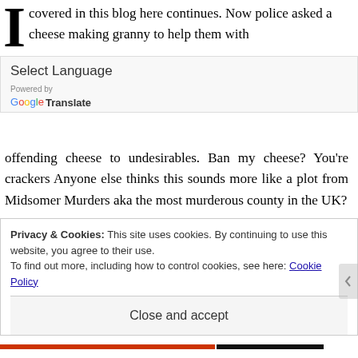covered in this blog here continues. Now police asked a cheese making granny to help them with
Select Language
Powered by
Google Translate
offending cheese to undesirables. Ban my cheese? You're crackers Anyone else thinks this sounds more like a plot from Midsomer Murders aka the most murderous county in the UK?
READ MORE
Privacy & Cookies: This site uses cookies. By continuing to use this website, you agree to their use.
To find out more, including how to control cookies, see here: Cookie Policy
Close and accept